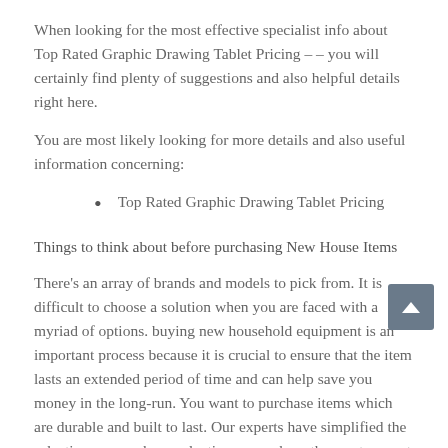When looking for the most effective specialist info about Top Rated Graphic Drawing Tablet Pricing – – you will certainly find plenty of suggestions and also helpful details right here.
You are most likely looking for more details and also useful information concerning:
Top Rated Graphic Drawing Tablet Pricing
Things to think about before purchasing New House Items
There's an array of brands and models to pick from. It is difficult to choose a solution when you are faced with a myriad of options. buying new household equipment is an important process because it is crucial to ensure that the item lasts an extended period of time and can help save you money in the long-run. You want to purchase items which are durable and built to last. Our experts have simplified the selection process by conducting research on the most current